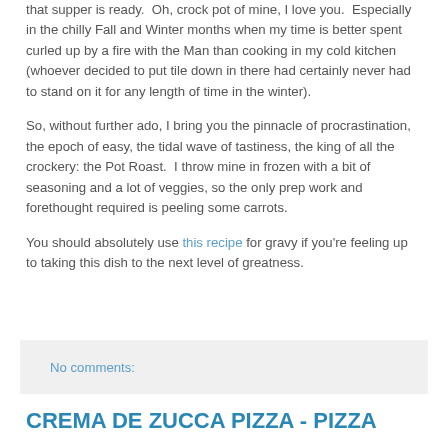that supper is ready.  Oh, crock pot of mine, I love you.  Especially in the chilly Fall and Winter months when my time is better spent curled up by a fire with the Man than cooking in my cold kitchen (whoever decided to put tile down in there had certainly never had to stand on it for any length of time in the winter).
So, without further ado, I bring you the pinnacle of procrastination, the epoch of easy, the tidal wave of tastiness, the king of all the crockery: the Pot Roast.  I throw mine in frozen with a bit of seasoning and a lot of veggies, so the only prep work and forethought required is peeling some carrots.
You should absolutely use this recipe for gravy if you're feeling up to taking this dish to the next level of greatness.
No comments:
CREMA DE ZUCCA PIZZA - PIZZA